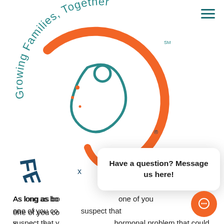[Figure (logo): OC Fertility logo with orange circular emblem containing a stylized fetus/embryo symbol, teal arched text reading 'Growing Families, Together' above, and teal 'FERTILITY' text below in arc, with a small 'x' beneath]
As long as bo one of you co suspect that y hormonal problem that could negatively affect egg production or implantation, we make recommenda for treatment.
Have a question? Message us here!